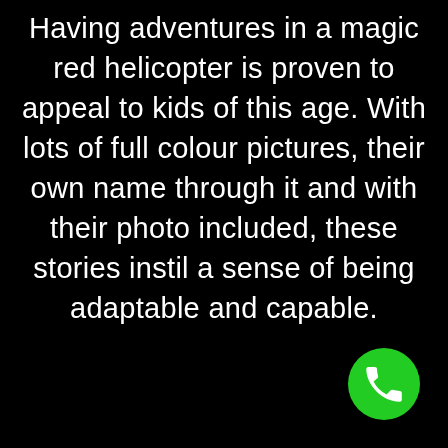Having adventures in a magic red helicopter is proven to appeal to kids of this age. With lots of full colour pictures, their own name through it and with their photo included, these stories instil a sense of being adaptable and capable.
[Figure (illustration): Green circular phone/call button with white telephone handset icon, positioned in the bottom-right corner of the screen]